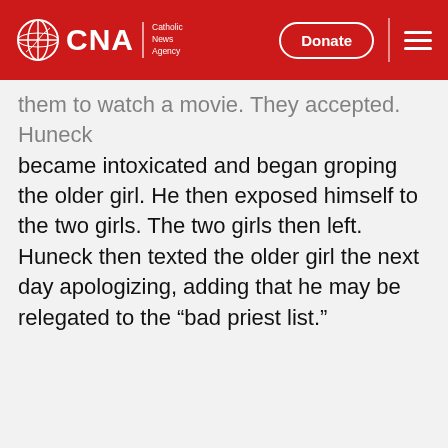CNA | Catholic News Agency
them to watch a movie. They accepted. Huneck became intoxicated and began groping the older girl. He then exposed himself to the two girls. The two girls then left. Huneck then texted the older girl the next day apologizing, adding that he may be relegated to the “bad priest list.”